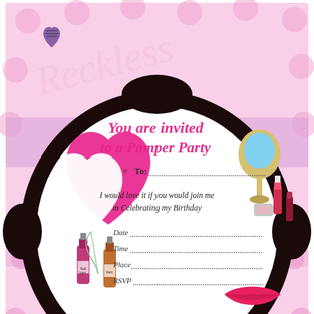[Figure (illustration): Pamper Party invitation card with pink polka dot background, black oval frame, hearts, nail polish bottles, mirror, lipstick, and text 'You are invited to a Pamper Party' with fields for To, Date, Time, Place, RSVP. Watermark text 'Reckless' in pink.]
Pamper Party Invitation Templates Party Invite Template Pamper Party Spa Party Invitations
[Figure (illustration): Pink background section with 'Spa Party' text in pink cursive/script font, partially visible at bottom of page.]